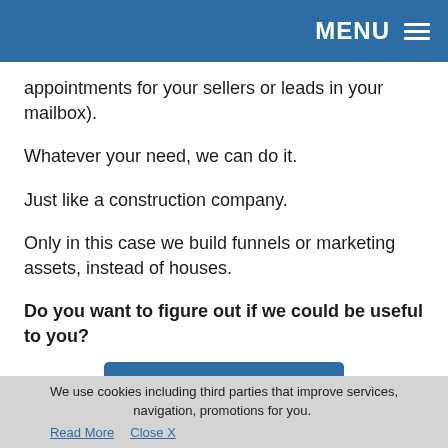MENU
appointments for your sellers or leads in your mailbox).
Whatever your need, we can do it.
Just like a construction company.
Only in this case we build funnels or marketing assets, instead of houses.
Do you want to figure out if we could be useful to you?
Book Strategy Session
We use cookies including third parties that improve services, navigation, promotions for you. Read More  Close X